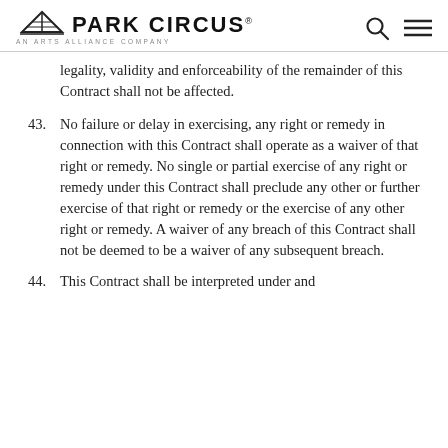PARK CIRCUS | AN ARTS ALLIANCE COMPANY
legality, validity and enforceability of the remainder of this Contract shall not be affected.
43. No failure or delay in exercising, any right or remedy in connection with this Contract shall operate as a waiver of that right or remedy. No single or partial exercise of any right or remedy under this Contract shall preclude any other or further exercise of that right or remedy or the exercise of any other right or remedy. A waiver of any breach of this Contract shall not be deemed to be a waiver of any subsequent breach.
44. This Contract shall be interpreted under and